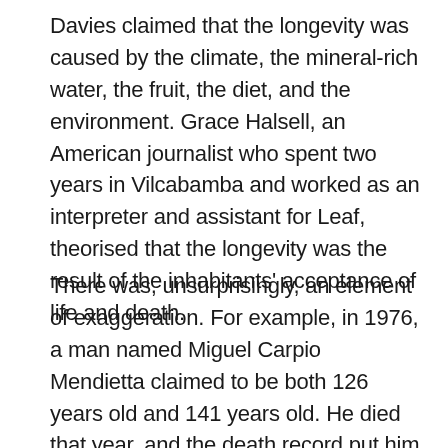Davies claimed that the longevity was caused by the climate, the mineral-rich water, the fruit, the diet, and the environment. Grace Halsell, an American journalist who spent two years in Vilcabamba and worked as an interpreter and assistant for Leaf, theorised that the longevity was the result of the inhabitants' acceptance of life and death.
There was, unsurprisingly, an element of exaggeration. For example, in 1976, a man named Miguel Carpio Mendietta claimed to be both 126 years old and 141 years old. He died that year, and the death record put him at 112 years old. None of those ages turned out to be correct. In 1978, Richard Mazess, a specialist in osteoporosis from the University of Wisconsin who conducted a detailed census in Vilcabamba, discovered that